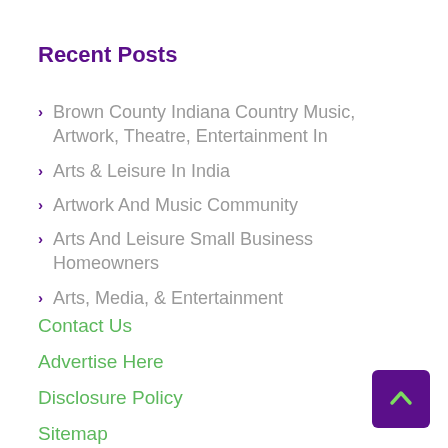Recent Posts
Brown County Indiana Country Music, Artwork, Theatre, Entertainment In
Arts & Leisure In India
Artwork And Music Community
Arts And Leisure Small Business Homeowners
Arts, Media, & Entertainment
Contact Us
Advertise Here
Disclosure Policy
Sitemap